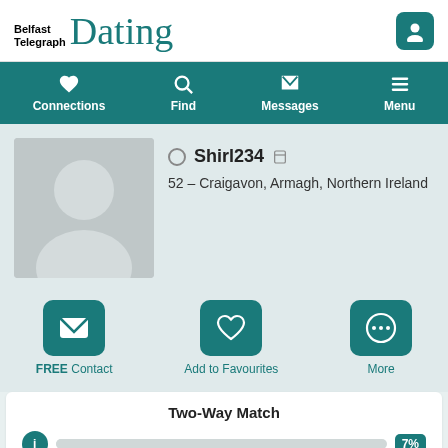Belfast Telegraph Dating
Connections | Find | Messages | Menu
[Figure (photo): Default female avatar silhouette on grey background]
Shirl234
52 – Craigavon, Armagh, Northern Ireland
FREE Contact | Add to Favourites | More
Two-Way Match
7%
Join and create your free profile today to see how well you match with her, and hundreds more.
Join now